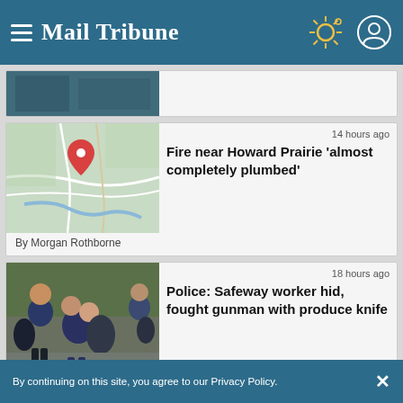Mail Tribune
[Figure (photo): Partially visible image at top, cropped]
14 hours ago
Fire near Howard Prairie 'almost completely plumbed'
By Morgan Rothborne
18 hours ago
Police: Safeway worker hid, fought gunman with produce knife
By continuing on this site, you agree to our Privacy Policy.